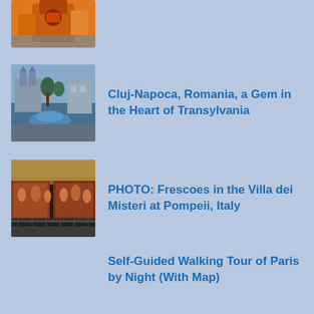[Figure (photo): Partial top image, cut off — appears to show colorful orange festival costume/dancer]
[Figure (photo): City square in Cluj-Napoca, Romania, with church, trees and fountain]
Cluj-Napoca, Romania, a Gem in the Heart of Transylvania
[Figure (photo): Frescoes inside Villa dei Misteri at Pompeii, Italy — dark interior with painted walls]
PHOTO: Frescoes in the Villa dei Misteri at Pompeii, Italy
Self-Guided Walking Tour of Paris by Night (With Map)